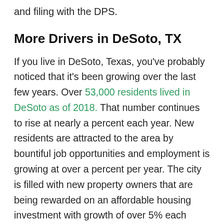and filing with the DPS.
More Drivers in DeSoto, TX
If you live in DeSoto, Texas, you've probably noticed that it's been growing over the last few years. Over 53,000 residents lived in DeSoto as of 2018. That number continues to rise at nearly a percent each year. New residents are attracted to the area by bountiful job opportunities and employment is growing at over a percent per year. The city is filled with new property owners that are being rewarded on an affordable housing investment with growth of over 5% each year. With a healthy household income of $68,954, a rate that is going up over 6% each year, it's easy to see why